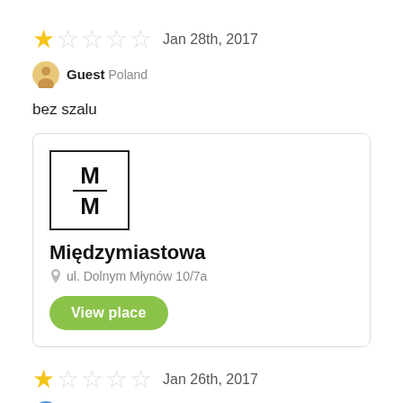[Figure (other): 1-star rating out of 5 stars, dated Jan 28th, 2017]
Guest Poland
bez szalu
[Figure (other): Place card for Międzymiastowa, address ul. Dolnym Młynów 10/7a, with logo M/M and View place button]
[Figure (other): 1-star rating out of 5 stars, dated Jan 26th, 2017]
aa Poland